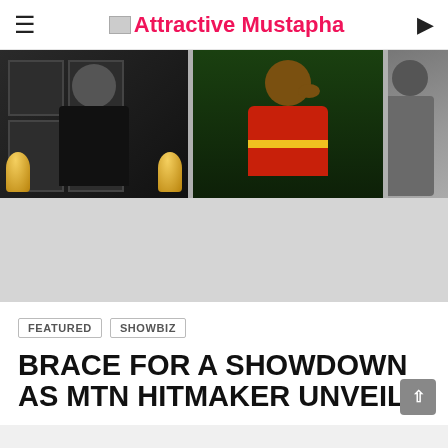Attractive Mustapha
[Figure (photo): Man in black suit at Grammy Awards with gold Grammy trophies visible on left and right]
[Figure (photo): Footballer in red and yellow Ghana jersey with hand near face]
[Figure (photo): Partial view of a person, cropped on right edge]
FEATURED   SHOWBIZ
BRACE FOR A SHOWDOWN AS MTN HITMAKER UNVEILS